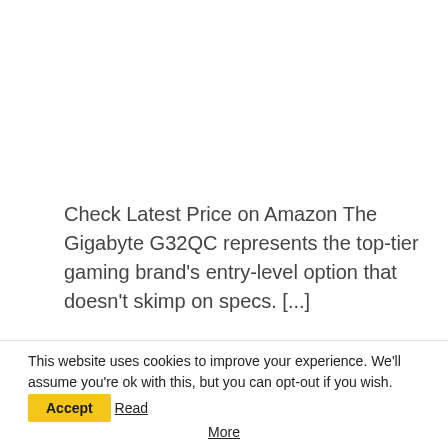Check Latest Price on Amazon The Gigabyte G32QC represents the top-tier gaming brand's entry-level option that doesn't skimp on specs. [...]
Continue Reading
This website uses cookies to improve your experience. We'll assume you're ok with this, but you can opt-out if you wish.
Read More